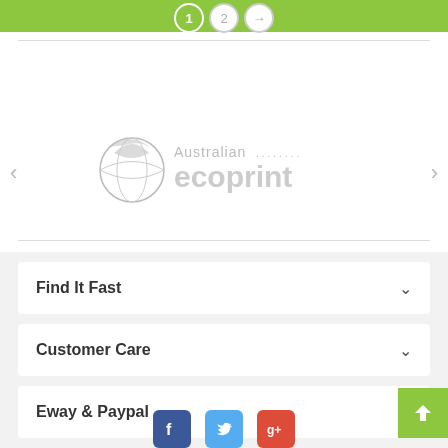[Figure (screenshot): Website page top bar with green background and pagination showing steps 1 (active/green), 2, and an arrow step]
[Figure (logo): Australian Ecoprint logo in grey tones showing a globe/bird icon and text 'Australian ecoprint' with dotted styling]
Find It Fast
Customer Care
Eway & Paypal
[Figure (infographic): Social media icons row: Facebook (blue), Twitter (light blue), Google+ (red), partially visible at bottom]